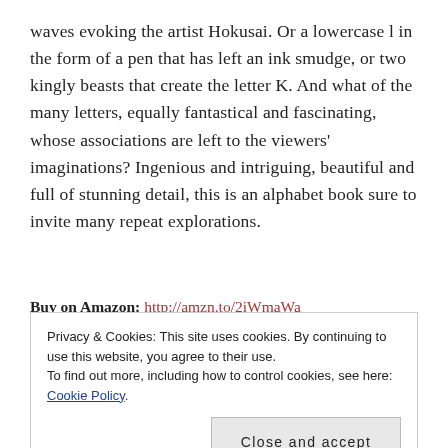waves evoking the artist Hokusai. Or a lowercase l in the form of a pen that has left an ink smudge, or two kingly beasts that create the letter K. And what of the many letters, equally fantastical and fascinating, whose associations are left to the viewers' imaginations? Ingenious and intriguing, beautiful and full of stunning detail, this is an alphabet book sure to invite many repeat explorations.
Buy on Amazon: http://amzn.to/2iWmaWa
Privacy & Cookies: This site uses cookies. By continuing to use this website, you agree to their use. To find out more, including how to control cookies, see here: Cookie Policy
Close and accept
[Figure (other): Blue banner at the bottom with white italic text appearing to read 'CHRISTMAS' or similar in uppercase letters]